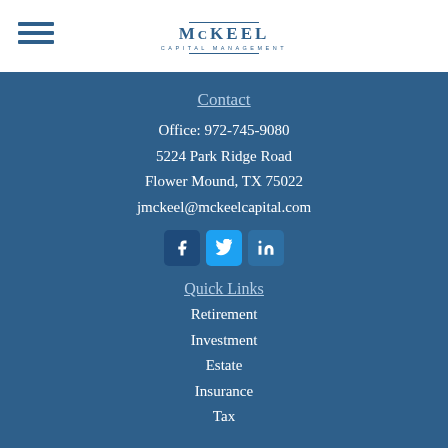[Figure (logo): McKeel Capital Management logo with hamburger menu icon on left]
Contact
Office: 972-745-9080
5224 Park Ridge Road
Flower Mound, TX 75022
jmckeel@mckeelcapital.com
[Figure (infographic): Facebook, Twitter, and LinkedIn social media icon buttons]
Quick Links
Retirement
Investment
Estate
Insurance
Tax